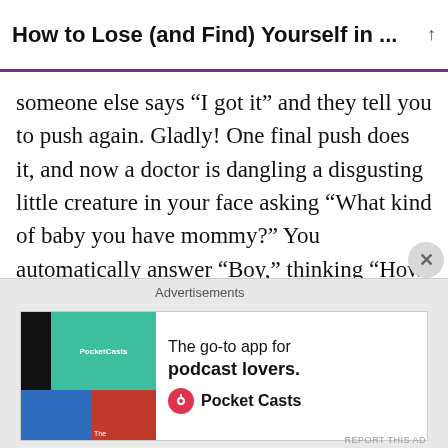How to Lose (and Find) Yourself in ...
someone else says “I got it” and they tell you to push again. Gladly! One final push does it, and now a doctor is dangling a disgusting little creature in your face asking “What kind of baby you have mommy?” You automatically answer “Boy,” thinking “How is he so big, when my tummy was so small?” You make a mental note of somebody saying the time of birth is 8:20PM. And just like that, with no experience holding newborns, or even being particularly fond of small children, you are somebody’s mother.
Advertisements
[Figure (other): Pocket Casts advertisement banner: The go-to app for podcast lovers.]